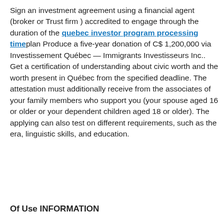Sign an investment agreement using a financial agent (broker or Trust firm ) accredited to engage through the duration of the quebec investor program processing timeplan Produce a five-year donation of C$ 1,200,000 via Investissement Québec — Immigrants Investisseurs Inc.. Get a certification of understanding about civic worth and the worth present in Québec from the specified deadline. The attestation must additionally receive from the associates of your family members who support you (your spouse aged 16 or older or your dependent children aged 18 or older). The applying can also test on different requirements, such as the era, linguistic skills, and education.
Of Use INFORMATION